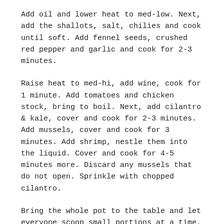Add oil and lower heat to med-low. Next, add the shallots, salt, chilies and cook until soft. Add fennel seeds, crushed red pepper and garlic and cook for 2-3 minutes.
Raise heat to med-hi, add wine, cook for 1 minute. Add tomatoes and chicken stock, bring to boil. Next, add cilantro & kale, cover and cook for 2-3 minutes. Add mussels, cover and cook for 3 minutes. Add shrimp, nestle them into the liquid. Cover and cook for 4-5 minutes more. Discard any mussels that do not open. Sprinkle with chopped cilantro.
Bring the whole pot to the table and let everyone scoop small portions at a time. Serve mussels with bread for dipping, lemon wedge and hot sauce (if using). Don't forget a bowl for the discarded mussel & shrimp shells.
COOK'S NOTE: